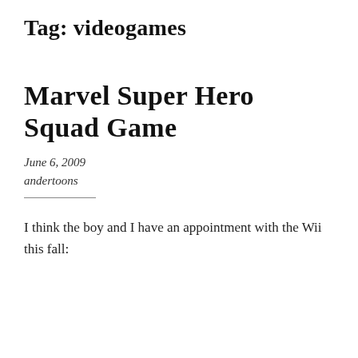Tag: videogames
Marvel Super Hero Squad Game
June 6, 2009
andertoons
I think the boy and I have an appointment with the Wii this fall: